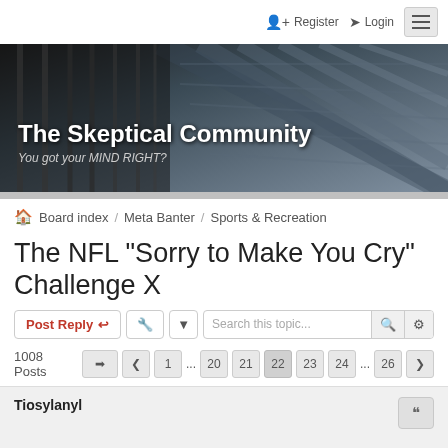Register  Login
[Figure (screenshot): Banner image of The Skeptical Community forum with building facade background]
The Skeptical Community
You got your MIND RIGHT?
Board index / Meta Banter / Sports & Recreation
The NFL "Sorry to Make You Cry" Challenge X
Post Reply  [tools]  Search this topic...
1008 Posts  [nav] 1 ... 20 21 22 23 24 ... 26
Tiosylanyl